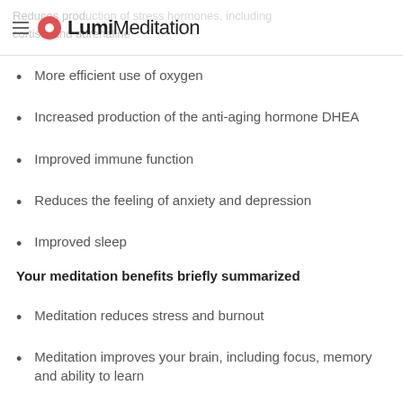Lumi Meditation
More efficient use of oxygen
Increased production of the anti-aging hormone DHEA
Improved immune function
Reduces the feeling of anxiety and depression
Improved sleep
Your meditation benefits briefly summarized
Meditation reduces stress and burnout
Meditation improves your brain, including focus, memory and ability to learn